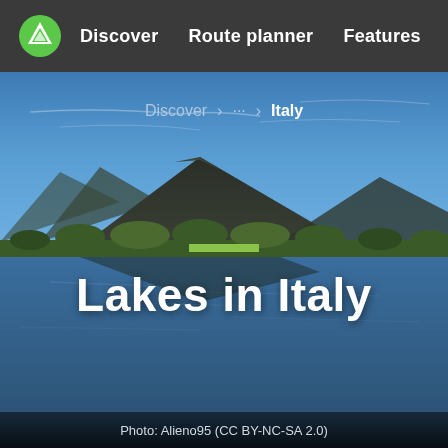Discover   Route planner   Features
Discover > … > Italy
[Figure (photo): Landscape hero photo: a serene lake with mountains and green vegetation in the background under a blue sky, used as hero image for 'Lakes in Italy' page.]
Lakes in Italy
Photo: Alieno95 (CC BY-NC-SA 2.0)